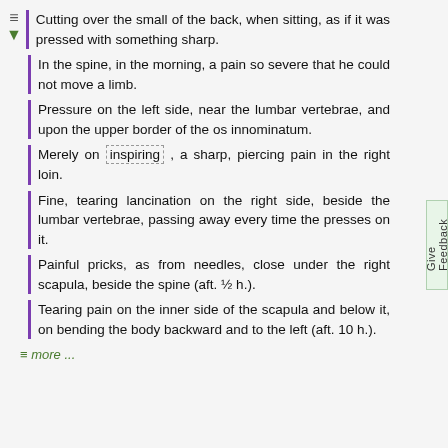Cutting over the small of the back, when sitting, as if it was pressed with something sharp.
In the spine, in the morning, a pain so severe that he could not move a limb.
Pressure on the left side, near the lumbar vertebrae, and upon the upper border of the os innominatum.
Merely on inspiring , a sharp, piercing pain in the right loin.
Fine, tearing lancination on the right side, beside the lumbar vertebrae, passing away every time the presses on it.
Painful pricks, as from needles, close under the right scapula, beside the spine (aft. ½ h.).
Tearing pain on the inner side of the scapula and below it, on bending the body backward and to the left (aft. 10 h.).
≡ more ...